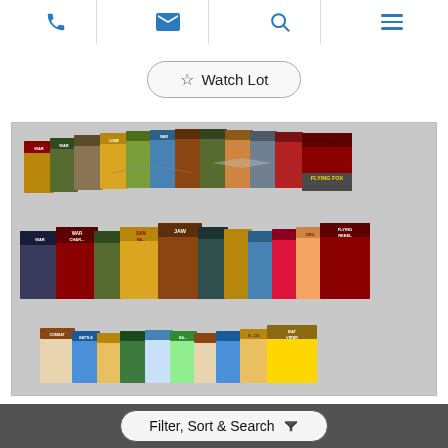Navigation bar with phone, email, search, and menu icons
☆ Watch Lot
[Figure (photo): Collection of vintage war/battle comic books (Battle Picture Library, Combat Picture Library series) arranged in three rows showing various titles including 'Flying Fox', 'War', 'Jaws', 'Flying Rebel', 'Bat Viper', and others with military-themed cover artwork]
Filter, Sort & Search